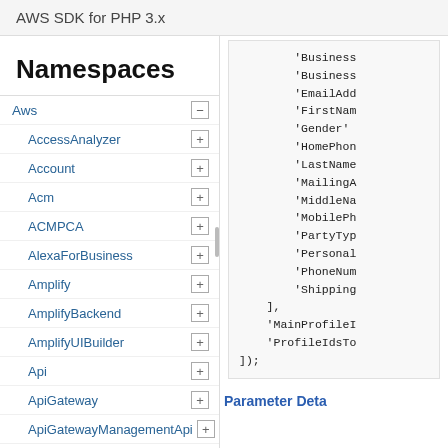AWS SDK for PHP 3.x
Namespaces
Aws
AccessAnalyzer
Account
Acm
ACMPCA
AlexaForBusiness
Amplify
AmplifyBackend
AmplifyUIBuilder
Api
ApiGateway
ApiGatewayManagementApi
[Figure (screenshot): Code block showing PHP array with keys: 'Business..., 'Business..., 'EmailAdd..., 'FirstNam..., 'Gender', 'HomePhon..., 'LastNam..., 'MailingA..., 'MiddleNa..., 'MobilePh..., 'PartyTyp..., 'Personal..., 'PhoneNum..., 'Shipping... then ], 'MainProfileI..., 'ProfileIdsTo..., ]); and Parameter Deta...]
Parameter Deta